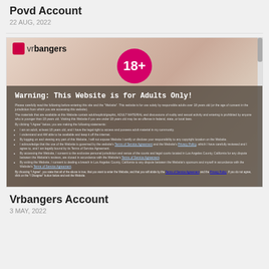Povd Account
22 AUG, 2022
[Figure (screenshot): Screenshot of the VR Bangers website showing an age verification warning page with 18+ badge and 'Warning: This Website is for Adults Only!' overlay on a background image.]
Vrbangers Account
3 MAY, 2022